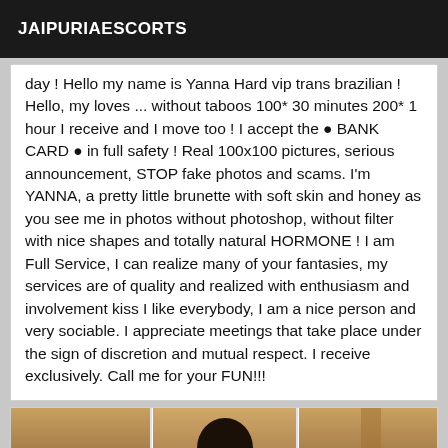JAIPURIAESCORTS
day ! Hello my name is Yanna Hard vip trans brazilian ! Hello, my loves ... without taboos 100* 30 minutes 200* 1 hour I receive and I move too ! I accept the ● BANK CARD ● in full safety ! Real 100x100 pictures, serious announcement, STOP fake photos and scams. I'm YANNA, a pretty little brunette with soft skin and honey as you see me in photos without photoshop, without filter with nice shapes and totally natural HORMONE ! I am Full Service, I can realize many of your fantasies, my services are of quality and realized with enthusiasm and involvement kiss I like everybody, I am a nice person and very sociable. I appreciate meetings that take place under the sign of discretion and mutual respect. I receive exclusively. Call me for your FUN!!!
[Figure (photo): Three-panel photo showing a person from behind with arms outstretched]